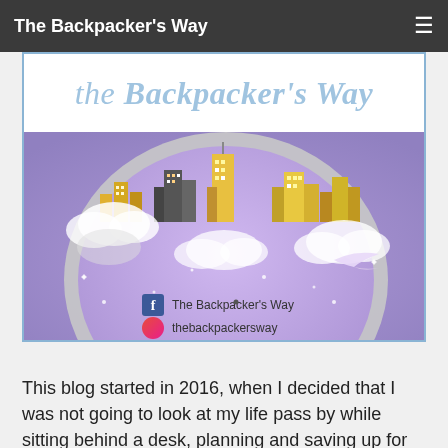The Backpacker's Way
[Figure (illustration): The Backpacker's Way blog header illustration: a white title band reading 'the Backpacker's Way' in light blue italic text, above a circular globe illustration with a purple/lavender sky, pixel-art cityscape, clouds, sparkles, and social media handles for Facebook (The Backpacker's Way) and a second platform (thebackpackersway).]
This blog started in 2016, when I decided that I was not going to look at my life pass by while sitting behind a desk, planning and saving up for my next trip. If what I loved the most was traveling, then I wanted to spend my days doing that! My adventure started with a one-way ticket to Lima and a plan-less plan. Two years later, I am far from being the person that